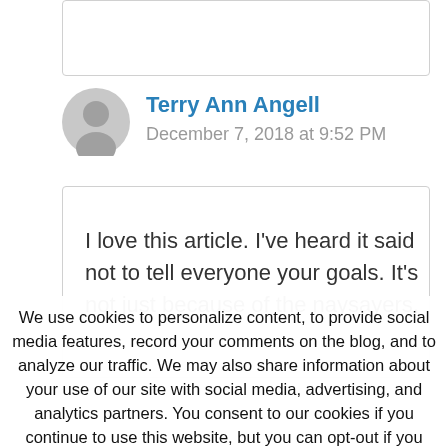Terry Ann Angell
December 7, 2018 at 9:52 PM
I love this article. I've heard it said not to tell everyone your goals. It's not just because of the naysayers,
We use cookies to personalize content, to provide social media features, record your comments on the blog, and to analyze our traffic. We may also share information about your use of our site with social media, advertising, and analytics partners. You consent to our cookies if you continue to use this website, but you can opt-out if you wish.